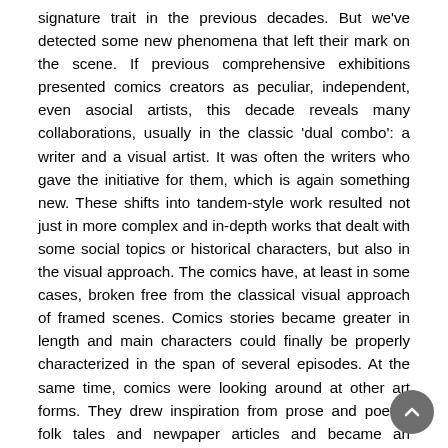signature trait in the previous decades. But we've detected some new phenomena that left their mark on the scene. If previous comprehensive exhibitions presented comics creators as peculiar, independent, even asocial artists, this decade reveals many collaborations, usually in the classic 'dual combo': a writer and a visual artist. It was often the writers who gave the initiative for them, which is again something new. These shifts into tandem-style work resulted not just in more complex and in-depth works that dealt with some social topics or historical characters, but also in the visual approach. The comics have, at least in some cases, broken free from the classical visual approach of framed scenes. Comics stories became greater in length and main characters could finally be properly characterized in the span of several episodes. At the same time, comics were looking around at other art forms. They drew inspiration from prose and poetry, folk tales and newpaper articles and became an educational tool as well. They also spread to museums, as part of contemporary art exhibitions, then from the internet they went back to paper, completely ignoring the rules of technological progress, they mutated into silkscreen prints, statues, games and useful tools; they even flirted heavily with comics theory. To prove the vari...